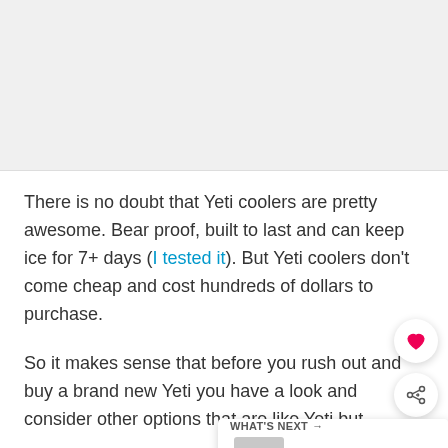[Figure (photo): Image placeholder at top of page, light gray background]
There is no doubt that Yeti coolers are pretty awesome. Bear proof, built to last and can keep ice for 7+ days (I tested it). But Yeti coolers don't come cheap and cost hundreds of dollars to purchase.
So it makes sense that before you rush out and buy a brand new Yeti you have a look and consider other options that are like Yeti but